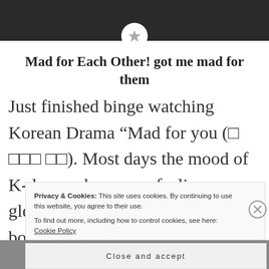[Figure (photo): Dark background image at the top of a blog post page, with a circular white star icon badge overlapping the bottom center]
Mad for Each Other! got me mad for them
Just finished binge watching Korean Drama “Mad for you (□ □□□ □□). Most days the mood of K-dramas keeps me feeling gleeful. Today I have cried a lot, both Oh Yeon-Seo and Jung Woo made me f...
Privacy & Cookies: This site uses cookies. By continuing to use this website, you agree to their use.
To find out more, including how to control cookies, see here: Cookie Policy
Close and accept
[Figure (photo): Partial dark image visible at the bottom of the page behind the cookie banner]